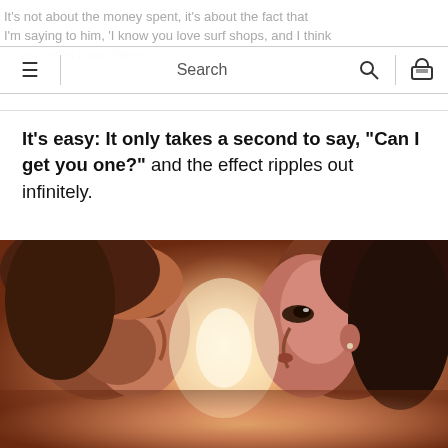It's not about the money spent, it's about the fact that I'm saying to him, 'I know you love surf shops, and I think of you when I was there.'
It's easy: It only takes a second to say, "Can I get you one?" and the effect ripples out infinitely.
[Figure (photo): Close-up photo of a man and woman facing each other with foreheads nearly touching, warm backlit sunset lighting.]